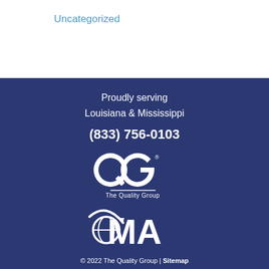Uncategorized
Proudly serving Louisiana & Mississippi
(833) 756-0103
[Figure (logo): QG - The Quality Group logo in white on dark blue background]
[Figure (logo): OMA logo with globe icon in white on dark blue background]
© 2022 The Quality Group | Sitemap